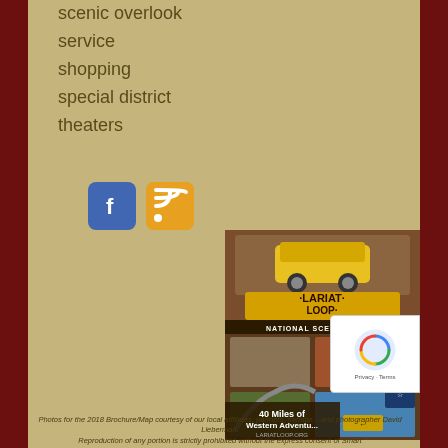scenic overlook
service
shopping
special district
theaters
[Figure (other): Facebook icon (blue with white F)]
[Figure (other): RSS feed icon (orange with white signal symbol)]
[Figure (photo): Lariat Loop National Scenic Byway brochure/booklet cover featuring a yellow Jeep, scenic Colorado mountain photos, and text '40 Miles of Western Adventure lariatloop.org']
Photos for the 2018 Brochure/Map courtesy of our local affiliates, partners, members and photographer David Lieberman. Reproduction of any portion is strictly prohibited without the express consent of Smart